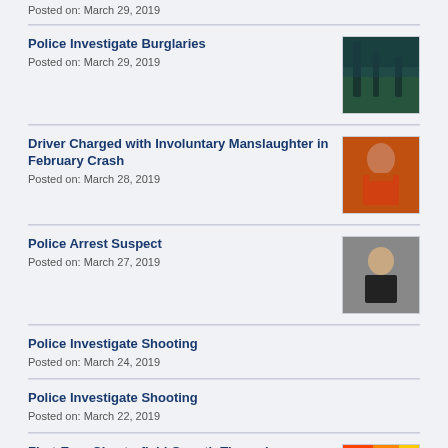Posted on: March 29, 2019
Police Investigate Burglaries
Posted on: March 29, 2019
[Figure (photo): Outdoor night scene with trees, dark blue-green tones]
Driver Charged with Involuntary Manslaughter in February Crash
Posted on: March 28, 2019
[Figure (photo): Mugshot of a man in an orange shirt]
Police Arrest Suspect
Posted on: March 27, 2019
[Figure (photo): Mugshot of a bald man in a black shirt against a gray background]
Police Investigate Shooting
Posted on: March 24, 2019
Police Investigate Shooting
Posted on: March 22, 2019
First-Ever Chesterfield Growth Through
[Figure (photo): Partial image with warm orange and red tones, fire or event-related]